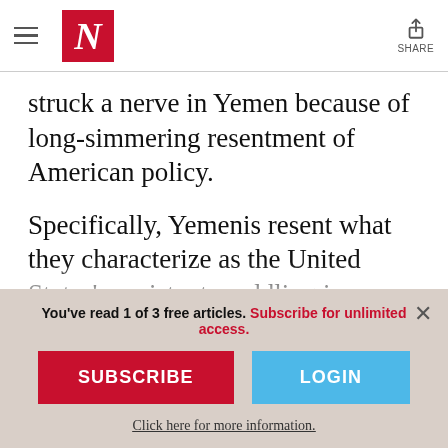The Nation — navigation header with hamburger menu, N logo, and Share button
struck a nerve in Yemen because of long-simmering resentment of American policy.
Specifically, Yemenis resent what they characterize as the United States' persistent meddling in Yemen's internal affairs. Even as government forces cracked down on peaceful anti-government demonstrations last year,
You've read 1 of 3 free articles. Subscribe for unlimited access.
SUBSCRIBE
LOGIN
Click here for more information.